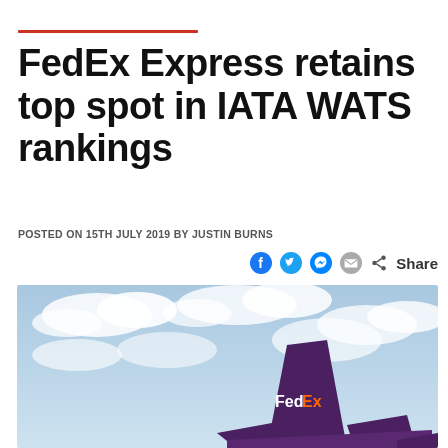FedEx Express retains top spot in IATA WATS rankings
POSTED ON 15TH JULY 2019 BY JUSTIN BURNS
[Figure (photo): FedEx Express aircraft tail fin with FedEx logo against a cloudy blue sky]